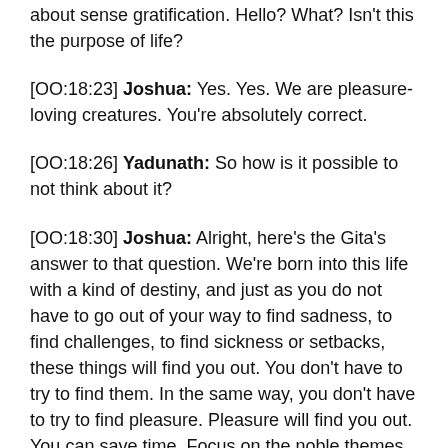about sense gratification. Hello? What? Isn't this the purpose of life?
[OO:18:23] Joshua: Yes. Yes. We are pleasure-loving creatures. You're absolutely correct.
[OO:18:26] Yadunath: So how is it possible to not think about it?
[OO:18:30] Joshua: Alright, here's the Gita's answer to that question. We're born into this life with a kind of destiny, and just as you do not have to go out of your way to find sadness, to find challenges, to find sickness or setbacks, these things will find you out. You don't have to try to find them. In the same way, you don't have to try to find pleasure. Pleasure will find you out. You can save time. Focus on the noble themes and